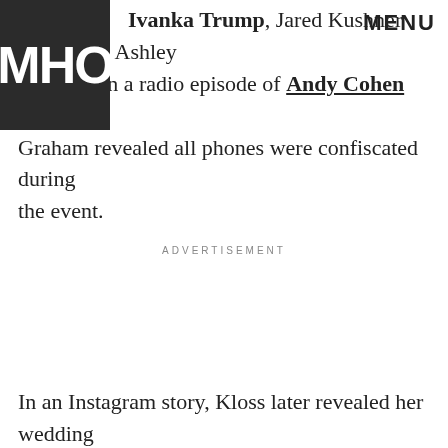[Figure (logo): MHO or similar publication logo — dark block with white letters]
MENU
Ivanka Trump, Jared Kushner and model Ashley Graham. In a radio episode of Andy Cohen Live, Graham revealed all phones were confiscated during the event.
ADVERTISEMENT
In an Instagram story, Kloss later revealed her wedding cake came from her longtime collaborator Christina Tosi's Milk Bar Bakery. The dessert resembled a multi-tier version of Tosi's famous birthday cake, a